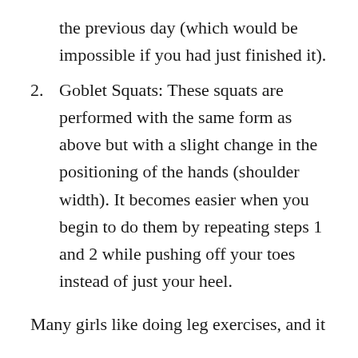the previous day (which would be impossible if you had just finished it).
2. Goblet Squats: These squats are performed with the same form as above but with a slight change in the positioning of the hands (shoulder width). It becomes easier when you begin to do them by repeating steps 1 and 2 while pushing off your toes instead of just your heel.
Many girls like doing leg exercises, and it